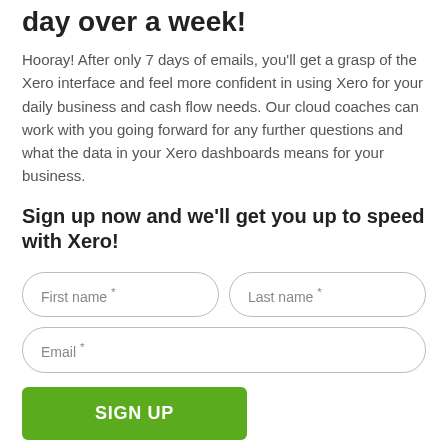day over a week!
Hooray! After only 7 days of emails, you'll get a grasp of the Xero interface and feel more confident in using Xero for your daily business and cash flow needs. Our cloud coaches can work with you going forward for any further questions and what the data in your Xero dashboards means for your business.
Sign up now and we'll get you up to speed with Xero!
First name * [input field]
Last name * [input field]
Email * [input field]
SIGN UP [button]